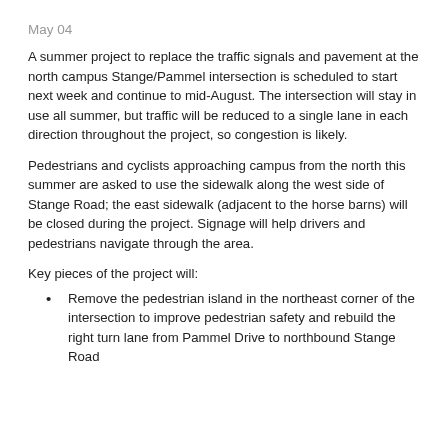May 04
A summer project to replace the traffic signals and pavement at the north campus Stange/Pammel intersection is scheduled to start next week and continue to mid-August. The intersection will stay in use all summer, but traffic will be reduced to a single lane in each direction throughout the project, so congestion is likely.
Pedestrians and cyclists approaching campus from the north this summer are asked to use the sidewalk along the west side of Stange Road; the east sidewalk (adjacent to the horse barns) will be closed during the project. Signage will help drivers and pedestrians navigate through the area.
Key pieces of the project will:
Remove the pedestrian island in the northeast corner of the intersection to improve pedestrian safety and rebuild the right turn lane from Pammel Drive to northbound Stange Road